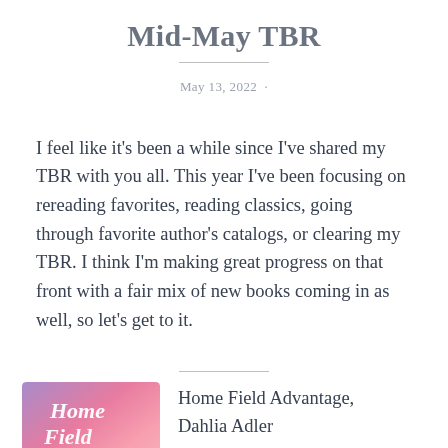Mid-May TBR
May 13, 2022
I feel like it's been a while since I've shared my TBR with you all. This year I've been focusing on rereading favorites, reading classics, going through favorite author's catalogs, or clearing my TBR. I think I'm making great progress on that front with a fair mix of new books coming in as well, so let's get to it.
[Figure (illustration): Book cover for 'Home Field' with pink/purple gradient background and white cursive text]
Home Field Advantage, Dahlia Adler YA/Romance/LGBTQ+ Releases June 7th